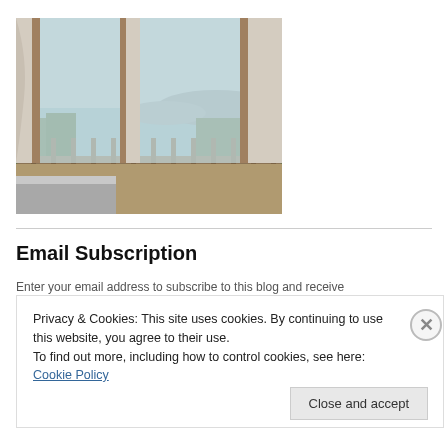[Figure (photo): Interior room photo showing sliding glass doors and a wooden balcony railing with a view of water and mountains in the background]
Email Subscription
Enter your email address to subscribe to this blog and receive...
Privacy & Cookies: This site uses cookies. By continuing to use this website, you agree to their use.
To find out more, including how to control cookies, see here: Cookie Policy
Close and accept